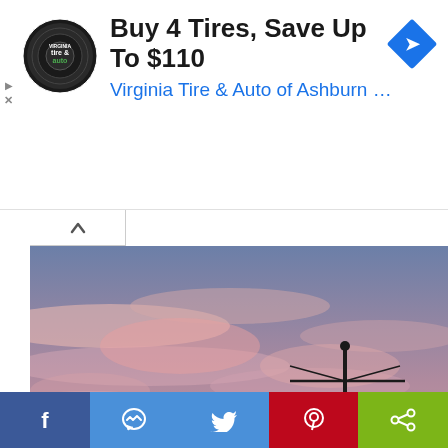[Figure (infographic): Advertisement banner: Virginia Tire & Auto logo (circular black badge), headline 'Buy 4 Tires, Save Up To $110', subtitle 'Virginia Tire & Auto of Ashburn …', blue diamond navigation icon on right. Small play and X icons on far left edge.]
[Figure (photo): Photograph of a rooftop TV antenna silhouetted against a pink and purple sunset sky with scattered clouds. Dark hillside and trees visible in background.]
VHF & UHF in the Age of Digital TV
The advent of digital over-the-air television has greatly improved the way we enjoy our local broadcast TV. Before DTV, picking up a distant analog TV signal usually involved
[Figure (infographic): Social media share bar at bottom: Facebook (blue), Messenger (blue), Twitter (blue), Pinterest (red), Share (green) buttons with white icons]